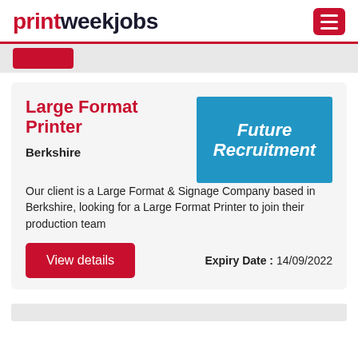printweekjobs
Large Format Printer
Berkshire
[Figure (logo): Future Recruitment company logo on blue background]
Our client is a Large Format & Signage Company based in Berkshire, looking for a Large Format Printer to join their production team
View details
Expiry Date : 14/09/2022